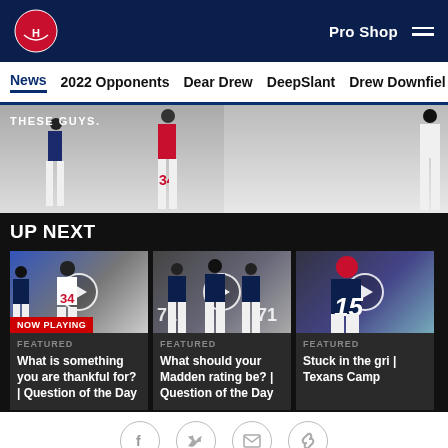Houston Texans — Pro Shop
News
2022 Opponents
Dear Drew
DeepSlant
Drew Downfield
[Figure (photo): Players in white uniforms — THESE GUYS. text overlay]
UP NEXT
[Figure (photo): NOW PLAYING card — FEATURED — What is something you are thankful for? | Question of the Day]
[Figure (photo): FEATURED — What should your Madden rating be? | Question of the Day]
[Figure (photo): FEATURED — Stuck in the gri | Texans Camp]
[Figure (infographic): Social share icons: Facebook, Twitter, Email, Link]